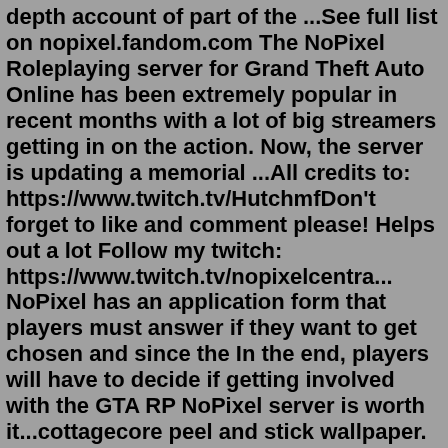depth account of part of the ...See full list on nopixel.fandom.com The NoPixel Roleplaying server for Grand Theft Auto Online has been extremely popular in recent months with a lot of big streamers getting in on the action. Now, the server is updating a memorial ...All credits to: https://www.twitch.tv/HutchmfDon't forget to like and comment please! Helps out a lot Follow my twitch: https://www.twitch.tv/nopixelcentra... NoPixel has an application form that players must answer if they want to get chosen and since the In the end, players will have to decide if getting involved with the GTA RP NoPixel server is worth it...cottagecore peel and stick wallpaper. granite remnants for sale near me. jasper hale x reader protective. d2r amazon gloves. implantation bleeding twins stories. ... Court Case Gone Wrong! #nopixel #nopixelclips #gta #gta5 #gtaRP #gta5clips #gaming #gtaviral #gaming #gtaviral #ratedepicz. original sound - RatedEpicz. Report. 1752 30 2.Sticky-kit provides an easy way to attach elements to the page when the user scrolls such